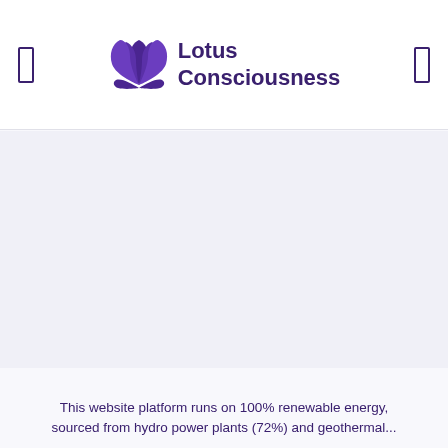Lotus Consciousness
[Figure (logo): Lotus Consciousness logo with purple lotus flower icon and text 'Lotus Consciousness']
This website platform runs on 100% renewable energy, sourced from hydro power plants (72%) and geothermal...